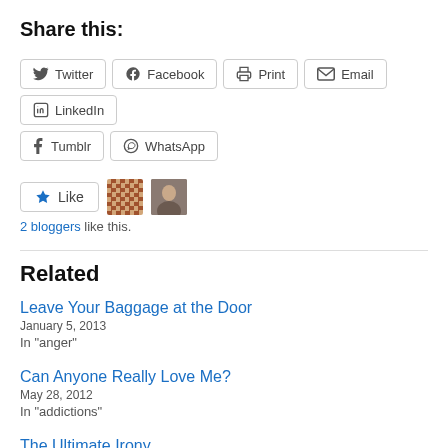Share this:
Twitter  Facebook  Print  Email  LinkedIn  Tumblr  WhatsApp
2 bloggers like this.
Related
Leave Your Baggage at the Door
January 5, 2013
In "anger"
Can Anyone Really Love Me?
May 28, 2012
In "addictions"
The Ultimate Irony